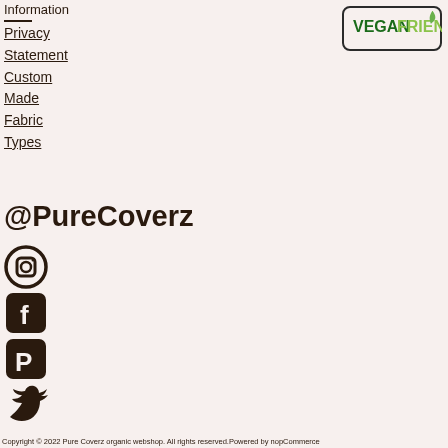Information
Privacy Statement
Custom Made
Fabric Types
[Figure (logo): Vegan Friendly badge — rounded rectangle border with 'VEGAN FRIENDLY' text and leaf icon]
@PureCoverz
[Figure (logo): Instagram icon — dark brown circle with square camera outline]
[Figure (logo): Facebook icon — dark brown rounded square with letter f]
[Figure (logo): Pinterest icon — dark brown rounded square with letter P]
[Figure (logo): Twitter bird icon — dark brown]
Copyright © 2022 Pure Coverz organic webshop. All rights reserved.Powered by nopCommerce